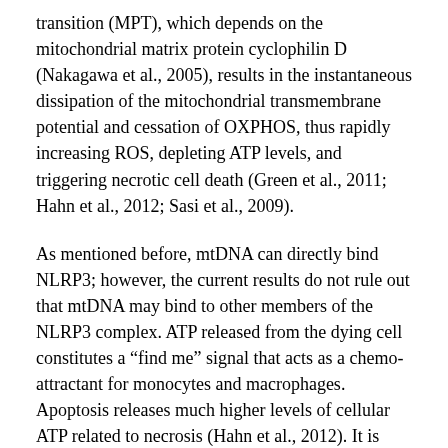transition (MPT), which depends on the mitochondrial matrix protein cyclophilin D (Nakagawa et al., 2005), results in the instantaneous dissipation of the mitochondrial transmembrane potential and cessation of OXPHOS, thus rapidly increasing ROS, depleting ATP levels, and triggering necrotic cell death (Green et al., 2011; Hahn et al., 2012; Sasi et al., 2009).
As mentioned before, mtDNA can directly bind NLRP3; however, the current results do not rule out that mtDNA may bind to other members of the NLRP3 complex. ATP released from the dying cell constitutes a “find me” signal that acts as a chemo-attractant for monocytes and macrophages. Apoptosis releases much higher levels of cellular ATP related to necrosis (Hahn et al., 2012). It is therefore possible that ATP binding would be necessary for mtDNA binding (Shimada et al., 2012).